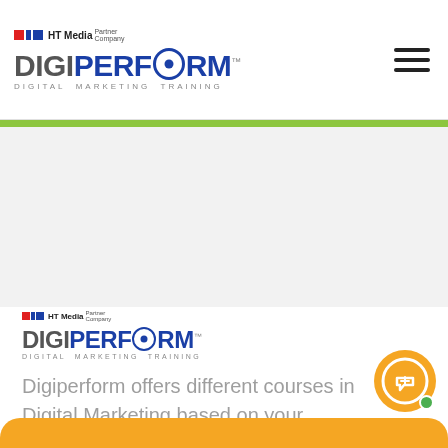HT Media Partner Company DIGIPERFORM DIGITAL MARKETING TRAINING
[Figure (logo): DigiPerform logo with HT Media Partner Company branding, showing DIGIPERFORM in blue with target O icon and DIGITAL MARKETING TRAINING tagline]
Digiperform offers different courses in Digital Marketing based on your Preferences, Time and Career requirements.